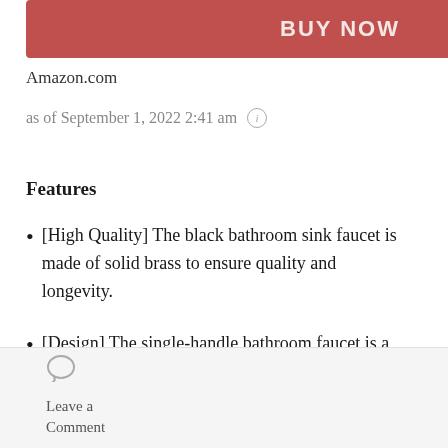[Figure (other): BUY NOW button in red/salmon color]
Amazon.com
as of September 1, 2022 2:41 am ⓘ
Features
[High Quality] The black bathroom sink faucet is made of solid brass to ensure quality and longevity.
[Design] The single-handle bathroom faucet is a single-handle design, which is
Leave a Comment